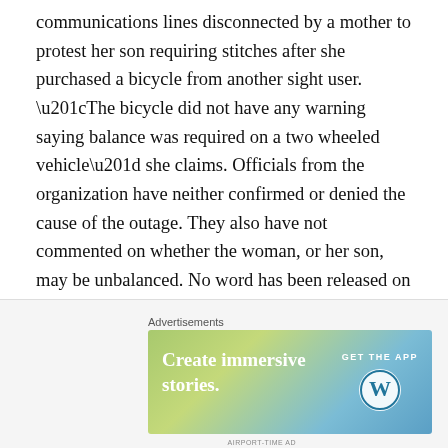communications lines disconnected by a mother to protest her son requiring stitches after she purchased a bicycle from another sight user. “The bicycle did not have any warning saying balance was required on a two wheeled vehicle” she claims. Officials from the organization have neither confirmed or denied the cause of the outage. They also have not commented on whether the woman, or her son, may be unbalanced. No word has been released on when the website will be restored. Bay Area NBC should be covering it soon November 24, 2014. 11/24/2014. 24Nov2014. 24November2104. 24/11/2014.
Share this:
[Figure (other): Advertisement banner: 'Create immersive stories. GET THE APP' with WordPress logo on a green-to-blue gradient background.]